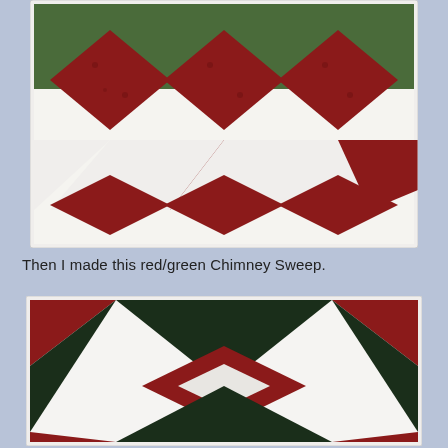[Figure (photo): Partial view of a red and green quilt pattern with diamond/square blocks arranged in a row on a light background]
Then I made this red/green Chimney Sweep.
[Figure (photo): A red/green Chimney Sweep quilt block with dark green, deep red/crimson, and white/cream fabric triangles and squares arranged in a geometric pattern on a white background]